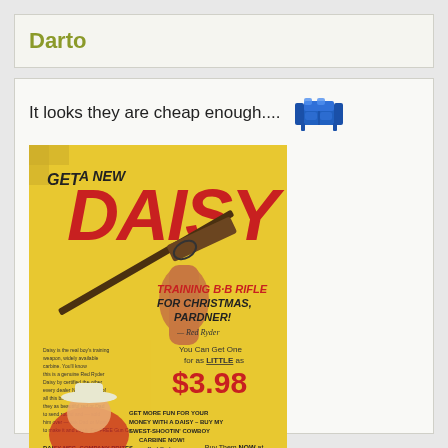Darto
It looks they are cheap enough.... 🛋
[Figure (photo): Vintage Daisy BB rifle advertisement showing 'Get a New DAISY Training B-B Rifle for Christmas, Pardner!' with price $3.98, featuring comic-style illustration of a cowboy holding a rifle]